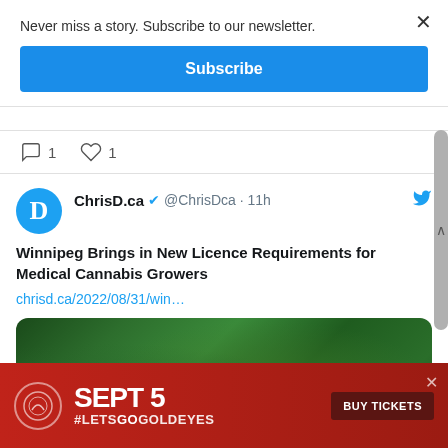Never miss a story. Subscribe to our newsletter.
Subscribe
1  1
[Figure (screenshot): Tweet from ChrisD.ca @ChrisDca 11h: Winnipeg Brings in New Licence Requirements for Medical Cannabis Growers, with link chrisd.ca/2022/08/31/win... and photo of cannabis plants]
[Figure (photo): Photo of cannabis plants growing indoors, dense green foliage]
[Figure (infographic): Red advertisement banner: SEPT 5 #LETSGOGOLDEYES BUY TICKETS with Winnipeg Goldeyes logo]